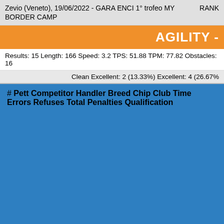Zevio (Veneto), 19/06/2022 - GARA ENCI 1° trofeo MY BORDER CAMP    RANK
AGILITY -
Results: 15 Length: 166 Speed: 3.2 TPS: 51.88 TPM: 77.82 Obstacles: 16
Clean Excellent: 2 (13.33%) Excellent: 4 (26.67%
| # | Pett | Competitor | Handler | Breed | Chip | Club | Time | Errors | Refuses | Total Penalties | Qualification |
| --- | --- | --- | --- | --- | --- | --- | --- | --- | --- | --- | --- |